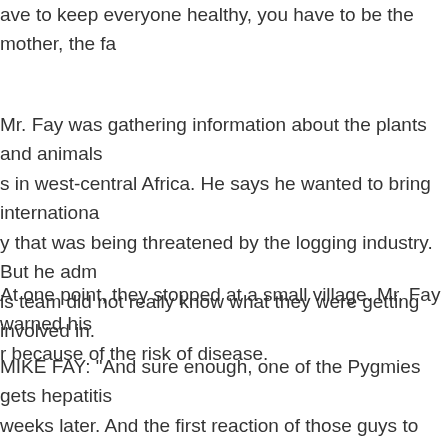ave to keep everyone healthy, you have to be the mother, the fa
Mr. Fay was gathering information about the plants and animals in west-central Africa. He says he wanted to bring international attention to a biodiversity that was being threatened by the logging industry. But he admits his team did not really know what they were getting involved in.
At one point, they stopped at a small village. Mr. Fay warned his team not to enter because of the risk of disease.
MIKE FAY: "And sure enough, one of the Pygmies gets hepatitis a few weeks later. And the first reaction of those guys to something like that is to get razor blades and bleed them, you know, to get the bad blood out. And all of a sudden everybody's touching his blood, and I just had these